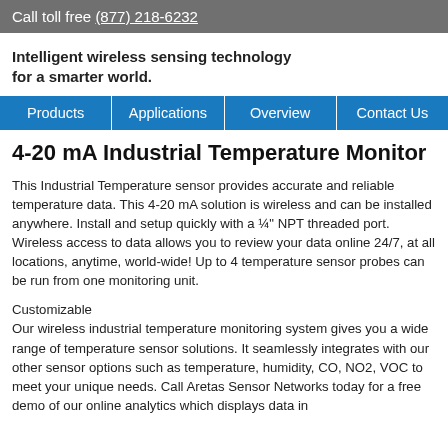Call toll free (877) 218-6232
Intelligent wireless sensing technology for a smarter world.
Products | Applications | Overview | Contact Us
4-20 mA Industrial Temperature Monitor
This Industrial Temperature sensor provides accurate and reliable temperature data. This 4-20 mA solution is wireless and can be installed anywhere. Install and setup quickly with a ¼" NPT threaded port. Wireless access to data allows you to review your data online 24/7, at all locations, anytime, world-wide! Up to 4 temperature sensor probes can be run from one monitoring unit.
Customizable
Our wireless industrial temperature monitoring system gives you a wide range of temperature sensor solutions. It seamlessly integrates with our other sensor options such as temperature, humidity, CO, NO2, VOC to meet your unique needs. Call Aretas Sensor Networks today for a free demo of our online analytics which displays data in